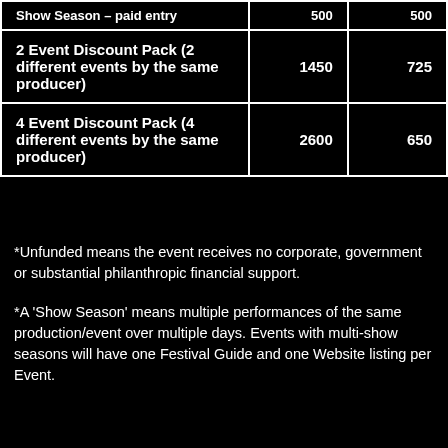| Show Season – paid entry | 500 | 500 |
| 2 Event Discount Pack (2 different events by the same producer) | 1450 | 725 |
| 4 Event Discount Pack (4 different events by the same producer) | 2600 | 650 |
*Unfunded means the event receives no corporate, government or substantial philanthropic financial support.
*A 'Show Season' means multiple performances of the same production/event over multiple days. Events with multi-show seasons will have one Festival Guide and one Website listing per Event.